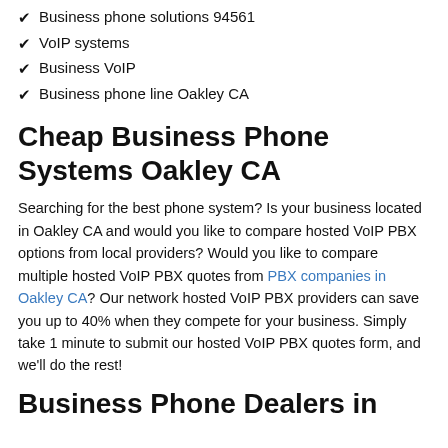Business phone solutions 94561
VoIP systems
Business VoIP
Business phone line Oakley CA
Cheap Business Phone Systems Oakley CA
Searching for the best phone system? Is your business located in Oakley CA and would you like to compare hosted VoIP PBX options from local providers? Would you like to compare multiple hosted VoIP PBX quotes from PBX companies in Oakley CA? Our network hosted VoIP PBX providers can save you up to 40% when they compete for your business. Simply take 1 minute to submit our hosted VoIP PBX quotes form, and we'll do the rest!
Business Phone Dealers in